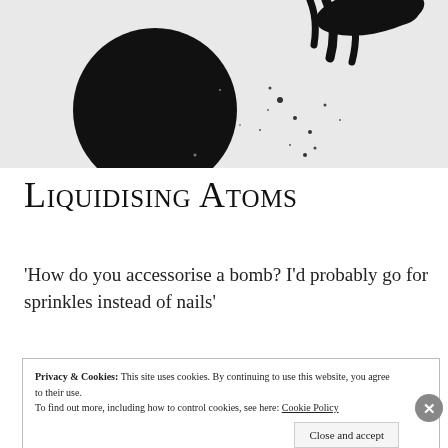[Figure (photo): Black and white abstract artwork with a large black circle on the left and ink splatter/brush strokes on the right against a textured white background]
Liquidising Atoms
'How do you accessorise a bomb? I'd probably go for sprinkles instead of nails'
Privacy & Cookies: This site uses cookies. By continuing to use this website, you agree to their use.
To find out more, including how to control cookies, see here: Cookie Policy
Close and accept